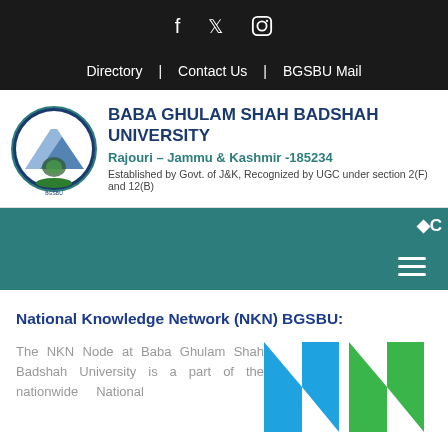f  Twitter  Instagram
Directory | Contact Us | BGSBU Mail
[Figure (logo): Baba Ghulam Shah Badshah University circular seal/crest logo]
BABA GHULAM SHAH BADSHAH UNIVERSITY
Rajouri – Jammu & Kashmir -185234
Established by Govt. of J&K, Recognized by UGC under section 2(F) and 12(B)
National Knowledge Network (NKN) BGSBU:
The NKN Node at Baba Ghulam Shah Badshah University is a part of the nationwide National
[Figure (logo): NKN (National Knowledge Network) logo with blue and green letter N shapes]